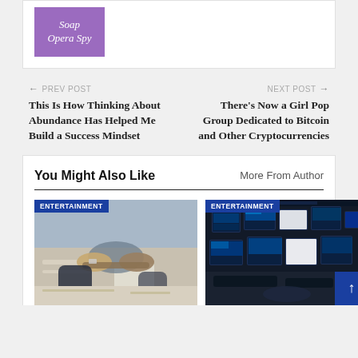[Figure (logo): Soap Opera Spy logo - purple/violet background with white italic script text]
← PREV POST
This Is How Thinking About Abundance Has Helped Me Build a Success Mindset
NEXT POST →
There's Now a Girl Pop Group Dedicated to Bitcoin and Other Cryptocurrencies
You Might Also Like
More From Author
[Figure (photo): Two people shaking hands over a desk with laptops and papers, ENTERTAINMENT label badge]
[Figure (photo): Trading room with multiple monitors showing financial data screens, ENTERTAINMENT label badge]